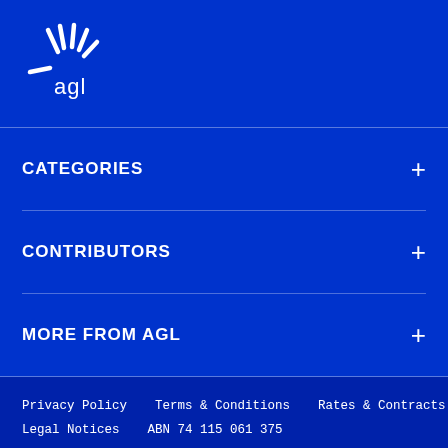[Figure (logo): AGL logo — white starburst rays with 'agl' text in white on blue background]
CATEGORIES
CONTRIBUTORS
MORE FROM AGL
Privacy Policy   Terms & Conditions   Rates & Contracts   Legal Notices   ABN 74 115 061 375